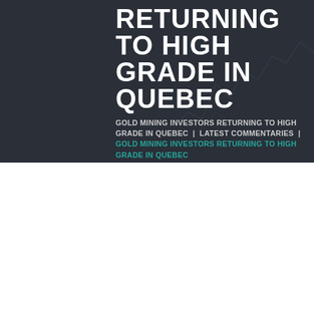RETURNING TO HIGH GRADE IN QUEBEC
GOLD MINING INVESTORS RETURNING TO HIGH GRADE IN QUEBEC | LATEST COMMENTARIES | GOLD MINING INVESTORS RETURNING TO HIGH GRADE IN QUEBEC
[Figure (photo): Goldstocktrades.com advertisement banner featuring logo, Granada Gold Mine branding, photo of Jeb Handwerger and Frank Basa CEO]